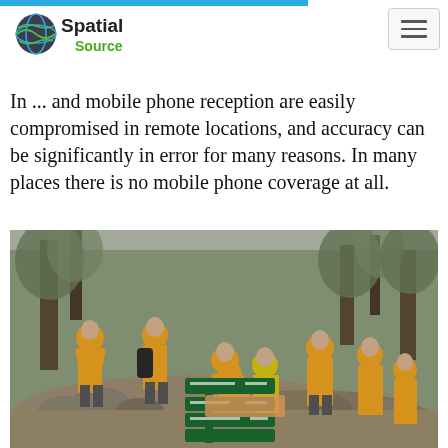Spatial Source
In ... and mobile phone reception are easily compromised in remote locations, and accuracy can be significantly in error for many reasons. In many places there is no mobile phone coverage at all.
[Figure (photo): Search and rescue workers in orange high-visibility clothing attending to an injured person on a rocky bush trail next to a green directional signpost in Australian bushland.]